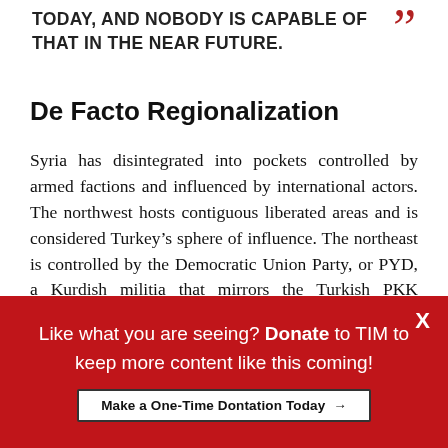TODAY, AND NOBODY IS CAPABLE OF THAT IN THE NEAR FUTURE.
De Facto Regionalization
Syria has disintegrated into pockets controlled by armed factions and influenced by international actors. The northwest hosts contiguous liberated areas and is considered Turkey’s sphere of influence. The northeast is controlled by the Democratic Union Party, or PYD, a Kurdish militia that mirrors the Turkish PKK (deemed a terrorist organization). The PYD and its armed wings coordinate with Damascus (the sponsor of terrorism), and lately with the U.S., assumingly to help in the fight
Like what you are seeing? Donate to TIM to keep more content like this coming!
Make a One-Time Dontation Today →